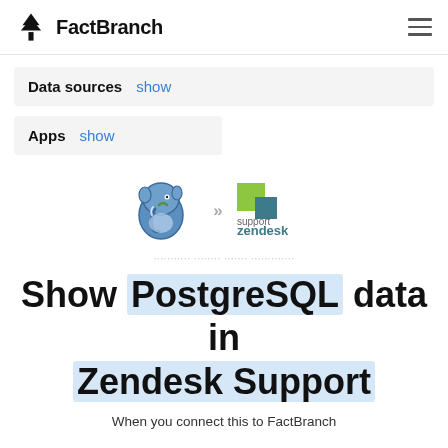FactBranch
Data sources  show
Apps  show
[Figure (logo): PostgreSQL elephant logo and Zendesk Support logo connected by double-chevron arrows, showing an integration connector between the two services.]
Show PostgreSQL data in Zendesk Support
When you connect this to FactBranch